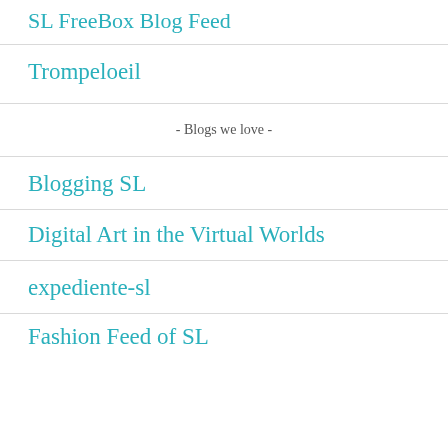SL FreeBox Blog Feed
Trompeloeil
- Blogs we love -
Blogging SL
Digital Art in the Virtual Worlds
expediente-sl
Fashion Feed of SL